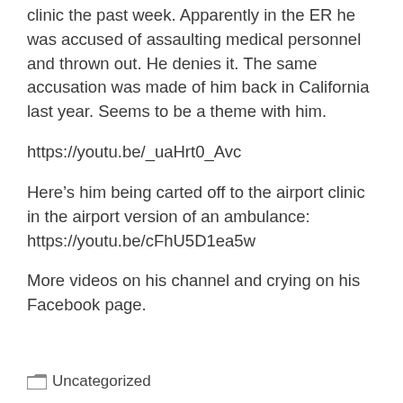clinic the past week. Apparently in the ER he was accused of assaulting medical personnel and thrown out. He denies it. The same accusation was made of him back in California last year. Seems to be a theme with him.
https://youtu.be/_uaHrt0_Avc
Here’s him being carted off to the airport clinic in the airport version of an ambulance: https://youtu.be/cFhU5D1ea5w
More videos on his channel and crying on his Facebook page.
Uncategorized